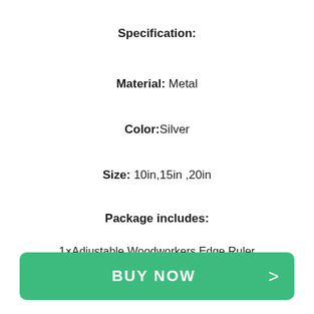Specification:
Material: Metal
Color:Silver
Size: 10in,15in ,20in
Package includes:
1×Adjustable Woodworkers Edge Ruler
BUY NOW